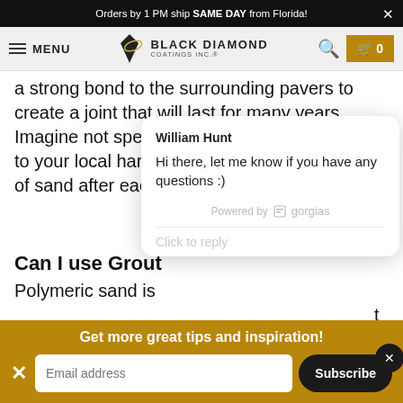Orders by 1 PM ship SAME DAY from Florida!
[Figure (logo): Black Diamond Coatings Inc. logo with hamburger menu, search icon, and cart]
a strong bond to the surrounding pavers to create a joint that will last for many years. Imagine not spending your Saturday with trips to your local hardware store for several bags of sand after each summer rain.
[Figure (screenshot): Chat popup from William Hunt saying: Hi there, let me know if you have any questions :) Powered by gorgias. Click to reply.]
Can I use Grout
Polymeric sand is ... t is a cement-base
Get more great tips and inspiration!
Email address Subscribe